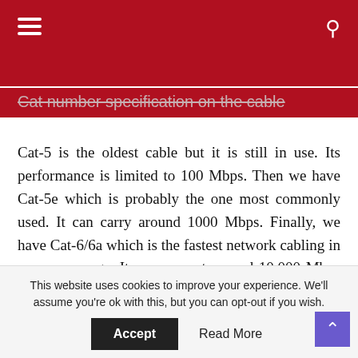Cat number specification on the cable
Cat-5 is the oldest cable but it is still in use. Its performance is limited to 100 Mbps. Then we have Cat-5e which is probably the one most commonly used. It can carry around 1000 Mbps. Finally, we have Cat-6/6a which is the fastest network cabling in common usage. It can support around 10,000 Mbps (10 Gigabit). In case you have an old cable that could be slowing down
This website uses cookies to improve your experience. We'll assume you're ok with this, but you can opt-out if you wish
Accept  Read More